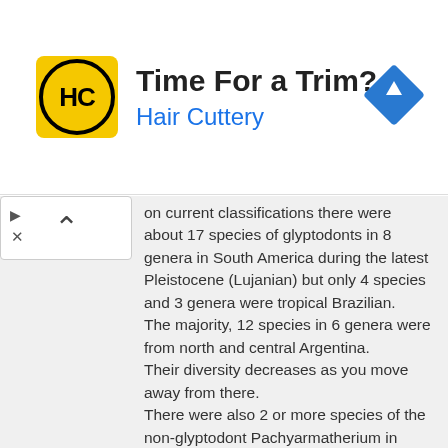[Figure (infographic): Advertisement banner for Hair Cuttery with logo (HC in circle on yellow background), title 'Time For a Trim?', subtitle 'Hair Cuttery', and a blue diamond navigation icon on the right.]
on current classifications there were about 17 species of glyptodonts in 8 genera in South America during the latest Pleistocene (Lujanian) but only 4 species and 3 genera were tropical Brazilian.
The majority, 12 species in 6 genera were from north and central Argentina.
Their diversity decreases as you move away from there.
There were also 2 or more species of the non-glyptodont Pachyarmatherium in South America at that time and several species of large tortoise in the genus Chelonoidis.
Also the ground sloths in South America had about double this diversity but more evenly spread around the continent.
LeeB.